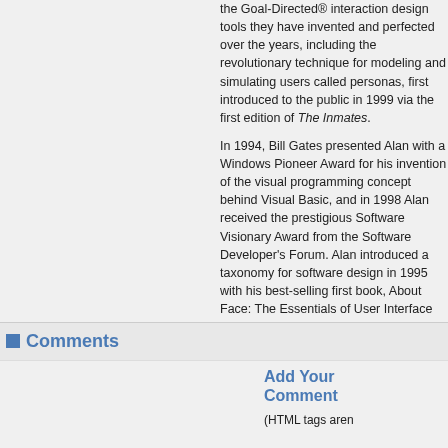the Goal-Directed® interaction design tools they have invented and perfected over the years, including the revolutionary technique for modeling and simulating users called personas, first introduced to the public in 1999 via the first edition of The Inmates.
In 1994, Bill Gates presented Alan with a Windows Pioneer Award for his invention of the visual programming concept behind Visual Basic, and in 1998 Alan received the prestigious Software Visionary Award from the Software Developer's Forum. Alan introduced a taxonomy for software design in 1995 with his best-selling first book, About Face: The Essentials of User Interface Design. Alan and co-author Robert Reimann published a significantly revised edition, About Face: The Essentials of Interaction Design, in 2003.
Alan's wife, Susan Cooper, is President and CEO of Cooper. They have two teenage sons, Scott and Marty, neither of whom is a nerd. In addition to software design, Alan is passionate about general aviation, urban planning, architecture, motor scooters, cooking, model trains and disc golf, among other things. Please send him email at inmates@cooper.com or visit Cooper's Web site at http://www.cooper.com.
Comments
Add Your Comment
(HTML tags aren